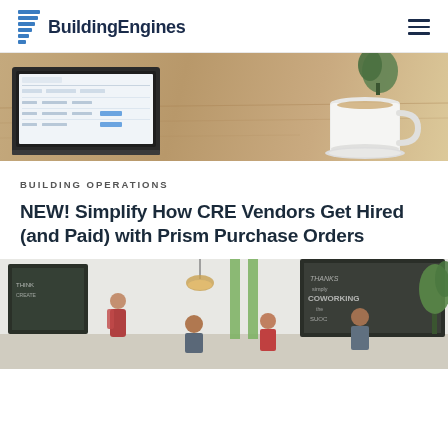BuildingEngines
[Figure (photo): Laptop showing a software interface on a wooden desk with a white coffee cup and saucer in the background]
BUILDING OPERATIONS
NEW! Simplify How CRE Vendors Get Hired (and Paid) with Prism Purchase Orders
[Figure (photo): People working in a co-working space with chalkboard walls and plants]